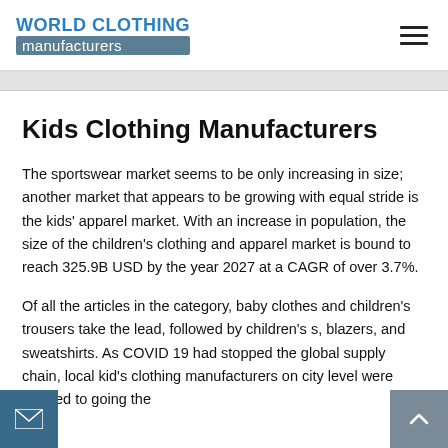WORLD CLOTHING manufacturers
Kids Clothing Manufacturers
The sportswear market seems to be only increasing in size; another market that appears to be growing with equal stride is the kids' apparel market. With an increase in population, the size of the children's clothing and apparel market is bound to reach 325.9B USD by the year 2027 at a CAGR of over 3.7%.
Of all the articles in the category, baby clothes and children's trousers take the lead, followed by children's s, blazers, and sweatshirts. As COVID 19 had stopped the global supply chain, local kid's clothing manufacturers on city level were allowed to going the